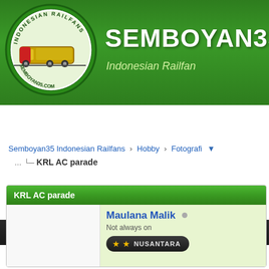[Figure (screenshot): Semboyan35.com Indonesian Railfan website header with logo and green gradient banner]
Hello There, Guest! Login Register
Semboyan35 Indonesian Railfans › Hobby › Fotografi
KRL AC parade
KRL AC parade
Maulana Malik
Not always on
★ ★ NUSANTARA